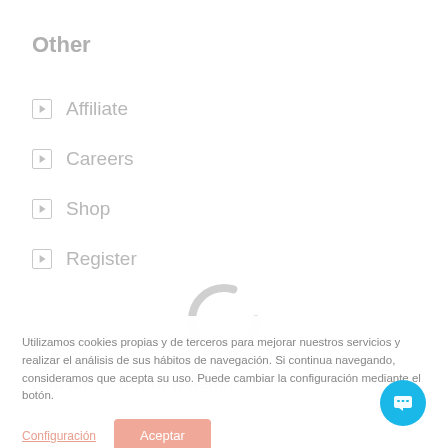Other
Affiliate
Careers
Shop
Register
[Figure (other): Loading spinner — circular grey ring indicating content is loading]
Subscribe our newsletter
Utilizamos cookies propias y de terceros para mejorar nuestros servicios y realizar el análisis de sus hábitos de navegación. Si continua navegando, consideramos que acepta su uso. Puede cambiar la configuración mediante el botón.
Configuración   Aceptar